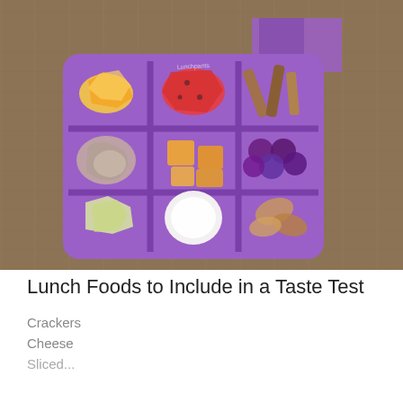[Figure (photo): Overhead view of a purple sectioned snack tray on a wooden surface, containing various foods: mango chunks, watermelon pieces, crackers/breadsticks, deli meat slices, cheese cubes, dark grapes, melon chunks, a white round item (possibly a hard-boiled egg or mozzarella), and dried fruit chips. A second purple tray is partially visible at the top.]
Lunch Foods to Include in a Taste Test
Crackers
Cheese
Sliced...